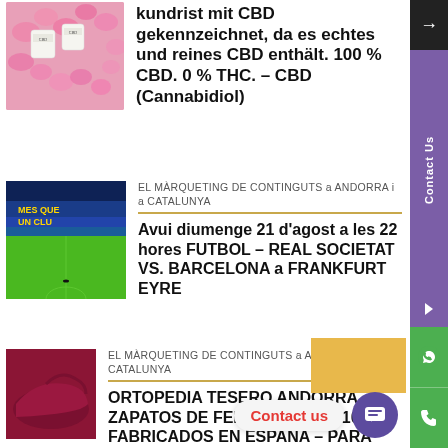[Figure (photo): Pink flowers with cosmetic product jars on top, from CBD article]
kundrist mit CBD gekennzeichnet, da es echtes und reines CBD enthält. 100 % CBD. 0 % THC. – CBD (Cannabidiol)
[Figure (photo): Football stadium with blue and yellow seats, green pitch - Camp Nou style]
EL MÀRQUETING DE CONTINGUTS a ANDORRA i a CATALUNYA
Avui diumenge 21 d'agost a les 22 hores FUTBOL – REAL SOCIETAT VS. BARCELONA a FRANKFURT EYRE
EL MÀRQUETING DE CONTINGUTS a ANDORRA i a CATALUNYA
ORTOPEDIA TESERO ANDORRA ZAPATOS DE FELIZ CAMINAR 100 % FABRICADOS EN ESPAÑA – PARA
[Figure (photo): Dark red/maroon shoe product photo]
Contact us